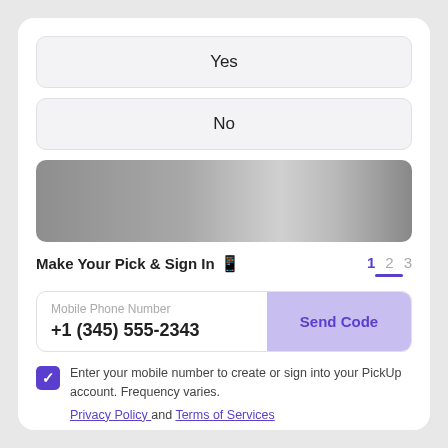Yes
No
[Figure (photo): Blurred/redacted image banner]
Make Your Pick & Sign In 📱
1  2  3
Mobile Phone Number
+1 (345) 555-2343
Send Code
Enter your mobile number to create or sign into your PickUp account. Frequency varies.
Privacy Policy and Terms of Services